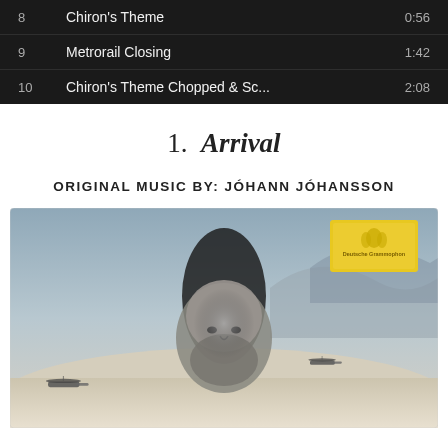| # | Title | Duration |
| --- | --- | --- |
| 8 | Chiron's Theme | 0:56 |
| 9 | Metrorail Closing | 1:42 |
| 10 | Chiron's Theme Chopped & Sc... | 2:08 |
1.  Arrival
ORIGINAL MUSIC BY: JÓHANN JÓHANSSON
[Figure (photo): Album cover for 'Arrival' soundtrack by Jóhann Jóhansson showing a bald bearded man's face composited with a grey alien spacecraft over a snowy landscape with military helicopters, and a yellow Deutsche Grammophon label logo in the upper right corner.]